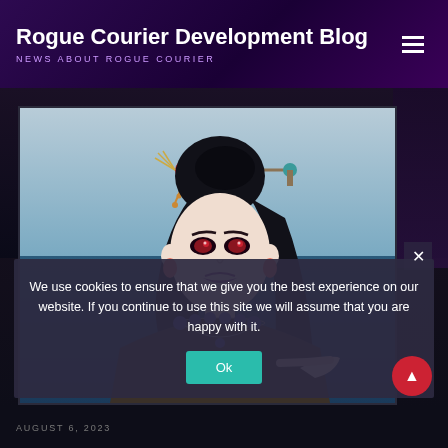Rogue Courier Development Blog — NEWS ABOUT ROGUE COURIER
[Figure (screenshot): Anime-style game screenshot showing a female character with black hair, red eyes, purple lips, wearing a necklace and off-shoulder outfit, with decorative hair accessories including a red ball and teal ornament on a stick. Background shows a blue-teal gradient suggesting water or sky.]
We use cookies to ensure that we give you the best experience on our website. If you continue to use this site we will assume that you are happy with it.
AUGUST 6, 2023